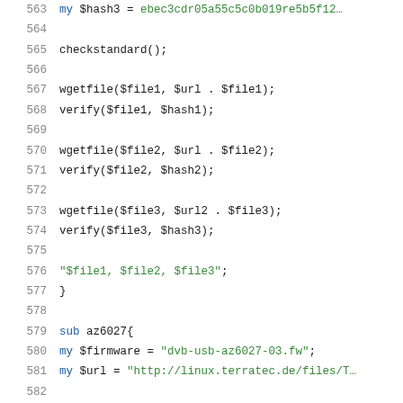[Figure (screenshot): Source code snippet in Perl showing lines 563-584 with syntax highlighting. Line numbers in gray on left, keywords 'my' and 'sub' in blue, string literals in green, function calls in dark text.]